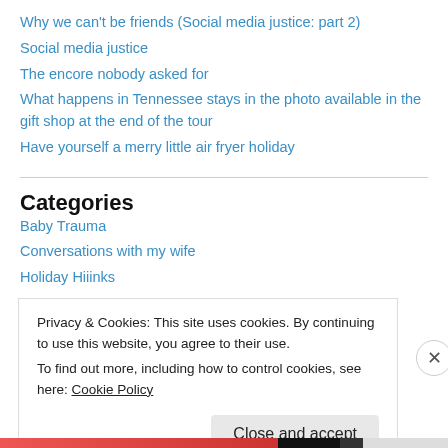Why we can't be friends (Social media justice: part 2)
Social media justice
The encore nobody asked for
What happens in Tennessee stays in the photo available in the gift shop at the end of the tour
Have yourself a merry little air fryer holiday
Categories
Baby Trauma
Conversations with my wife
Holiday Hiiinks
Privacy & Cookies: This site uses cookies. By continuing to use this website, you agree to their use.
To find out more, including how to control cookies, see here: Cookie Policy
Close and accept